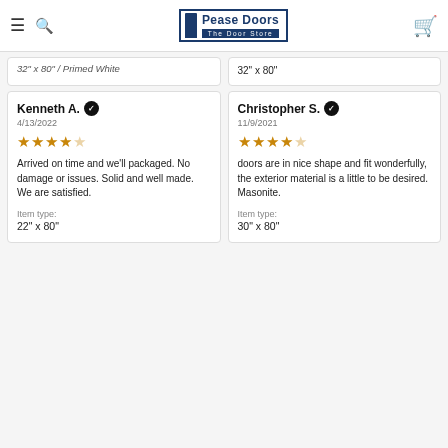Pease Doors – The Door Store
32" x 80" / Primed White
32" x 80"
Kenneth A. ✓
4/13/2022
★★★★☆
Arrived on time and we'll packaged. No damage or issues. Solid and well made. We are satisfied.
Item type:
22" x 80"
Christopher S. ✓
11/9/2021
★★★★☆
doors are in nice shape and fit wonderfully, the exterior material is a little to be desired. Masonite.
Item type:
30" x 80"